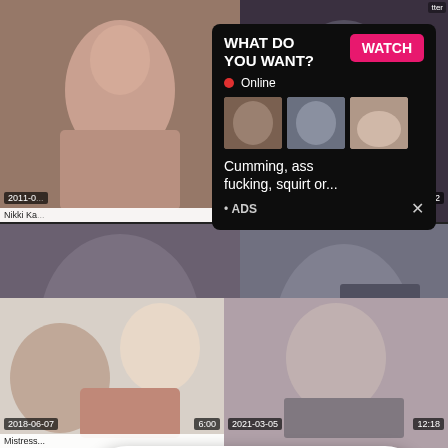[Figure (screenshot): Adult video thumbnail grid with overlaid ad popups. Top-left: brunette woman. Top-right: dark scene with duration 8:52. Mid-left: date 2011-06, label Queensnake, duration 8:31. Mid-right: scene. Bottom-left: date 2018-06-07, duration 6:00, label Mistress. Bottom-right: date 2021-03-05, duration 12:18. Overlay 1: black ad popup 'WHAT DO YOU WANT? WATCH, Online, Cumming ass fucking squirt or... ADS x'. Overlay 2: pink notification 'ADS Jeniffer 2000 (00:12)' with avatar and LIVE badge.]